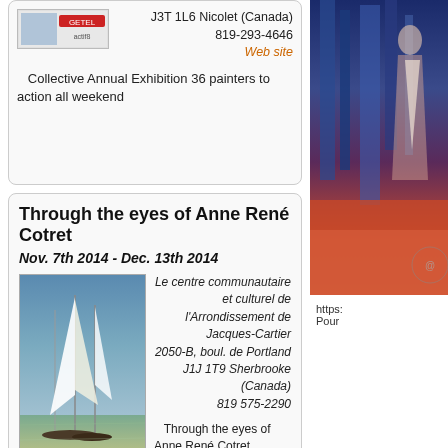J3T 1L6 Nicolet (Canada)
819-293-4646
Web site
Collective Annual Exhibition 36 painters to action all weekend
[Figure (photo): Painting of sailboats on water, right-side painting with sailboat and figures in blue/red tones]
Through the eyes of Anne René Cotret
Nov. 7th 2014 - Dec. 13th 2014
[Figure (photo): Oil painting of sailboats with tall masts on calm water]
Le centre communautaire et culturel de l'Arrondissement de Jacques-Cartier
2050-B, boul. de Portland
J1J 1T9 Sherbrooke (Canada)
819 575-2290
Through the eyes of Anne René Cotret
Oil painting
Sherbrooke, October 27, 2014 - Self-taught multidisciplinary Anne René Cotret use of oil as a medium of choice. Instinctively, the artist wields a palette of different colors it transforms the rhythm of his spatula. Perpetually in search of Anne René Cotret gives free rein to his imagination in order to soak up the details of daily life.
https:
Pour